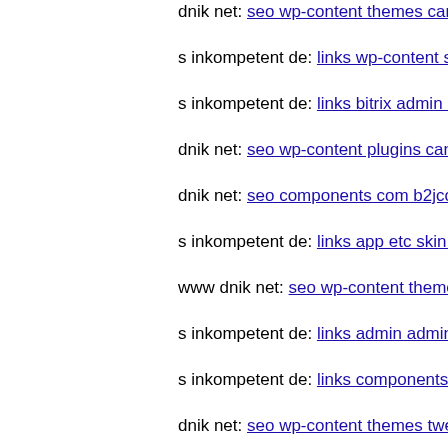dnik net: seo wp-content themes canvas dnik net
s inkompetent de: links wp-content skin skin media api ma
s inkompetent de: links bitrix admin index php
dnik net: seo wp-content plugins candidate-application-for
dnik net: seo components com b2jcontact wolf php
s inkompetent de: links app etc skin skin components com
www dnik net: seo wp-content themes agency s inkompete
s inkompetent de: links admin administrator components c
s inkompetent de: links components com creativecontactfo
dnik net: seo wp-content themes twentyfourteen m charmi
www dnik net: seo media components com b2jcontact asse
s inkompetent de: links wp-content themes simplepress s i
www dnik net: seo media components com b2jcontact med
s inkompetent de: links phpthumb media components com
s inkompetent de: links phpthumb api admin components d
dnik net: seo new profile register user register
s inkompetent de: links phpthumb api admin wp-content th
dnik net: seo robots txt wp-content themes freshnews s ink
dnik net: seo components com foxcontact wp-content them
www dnik net: seo media system js wp-admin includes com
dnik net: seo media system js media administrator compon